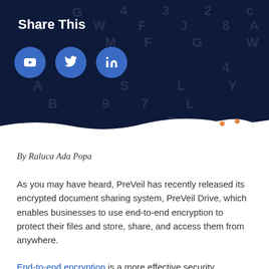Share This
[Figure (infographic): Dark navy banner with social share icons (YouTube, Twitter, LinkedIn) displayed as circular blue buttons, with scattered background letters and numbers, and a torn white wave at the bottom edge.]
By Raluca Ada Popa
As you may have heard, PreVeil has recently released its encrypted document sharing system, PreVeil Drive, which enables businesses to use end-to-end encryption to protect their files and store, share, and access them from anywhere.
End-to-end encryption is a more effective security mechanism than in-transit or at-rest encryption, because it protects against attackers who steal the data on your server. Because your information is encrypted on your